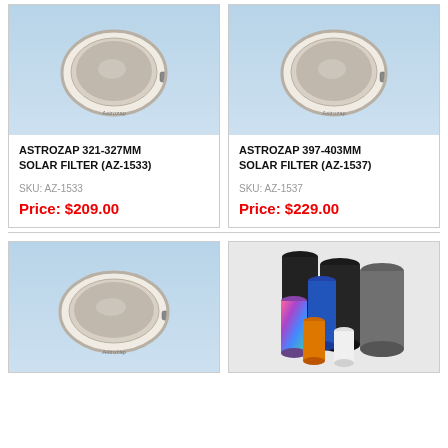[Figure (photo): Astrozap 321-327mm solar filter, round white-framed filter on blue gradient background]
ASTROZAP 321-327MM SOLAR FILTER (AZ-1533)
SKU: AZ-1533
Price: $209.00
[Figure (photo): Astrozap 397-403mm solar filter, round white-framed filter on blue gradient background]
ASTROZAP 397-403MM SOLAR FILTER (AZ-1537)
SKU: AZ-1537
Price: $229.00
[Figure (photo): Astrozap solar filter, round white-framed filter on blue gradient background]
[Figure (photo): Multiple cylindrical telescope dew shields in various colors including black, blue, rainbow, orange, white, and gray on a gray background]